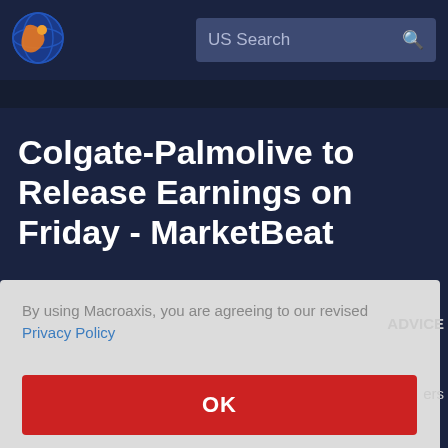[Figure (logo): Macroaxis globe logo — orange and blue circular globe icon]
US Search
Colgate-Palmolive to Release Earnings on Friday - MarketBeat
By using Macroaxis, you are agreeing to our revised Privacy Policy
OK